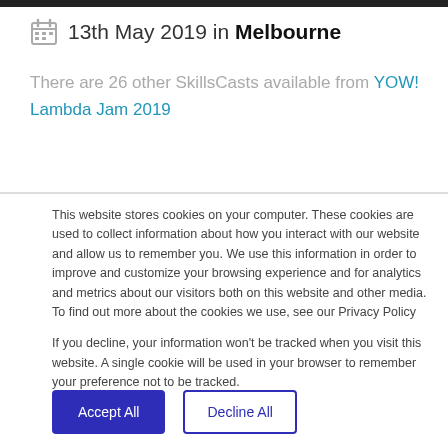13th May 2019 in Melbourne
There are 26 other SkillsCasts available from YOW! Lambda Jam 2019
This website stores cookies on your computer. These cookies are used to collect information about how you interact with our website and allow us to remember you. We use this information in order to improve and customize your browsing experience and for analytics and metrics about our visitors both on this website and other media. To find out more about the cookies we use, see our Privacy Policy
If you decline, your information won't be tracked when you visit this website. A single cookie will be used in your browser to remember your preference not to be tracked.